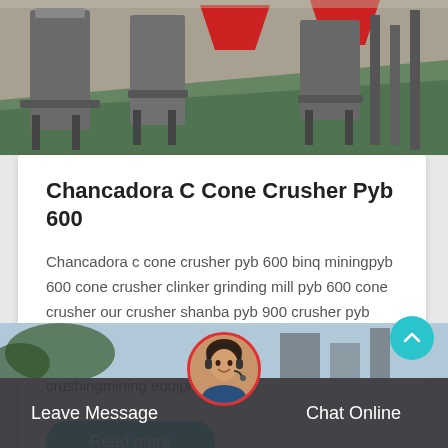[Figure (photo): Industrial machinery / cone crusher equipment in a factory setting]
Chancadora C Cone Crusher Pyb 600
Chancadora c cone crusher pyb 600 binq miningpyb 600 cone crusher clinker grinding mill pyb 600 cone crusher our crusher shanba pyb 900 crusher pyb 900 making machine plants of is a professional manufacturer of crushing equipmentconcrete crushingmining equipment
Read more
[Figure (photo): Customer service representative with headset, circular avatar]
Leave Message
Chat Online